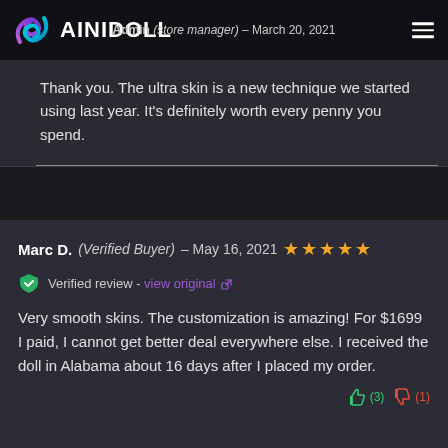Admin (store manager) – March 20, 2021
Thank you. The ultra skin is a new technique we started using last year. It's definitely worth every penny you spend.
Marc D. (Verified Buyer) – May 16, 2021 ★★★★★
Verified review - view original
Very smooth skins. The customization is amazing! For $1699 I paid, I cannot get better deal everywhere else. I received the doll in Alabama about 16 days after I placed my order.
(3) thumbs up, (1) thumbs down